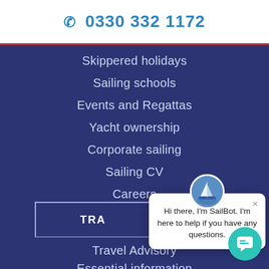☎ 0330 332 1172
Skippered holidays
Sailing schools
Events and Regattas
Yacht ownership
Corporate sailing
Sailing CV
Careers
TRA
Ma...
Travel Advisory
Essential information
Chart Briefings
[Figure (screenshot): SailBot chat popup with avatar showing sailing boat image, close button (×), and message: Hi there, I'm SailBot. I'm here to help if you have any questions. Teal chat button in bottom right corner.]